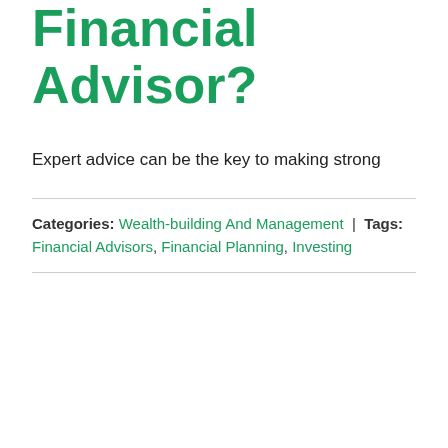Financial Advisor?
Expert advice can be the key to making strong
Categories: Wealth-building And Management | Tags: Financial Advisors, Financial Planning, Investing